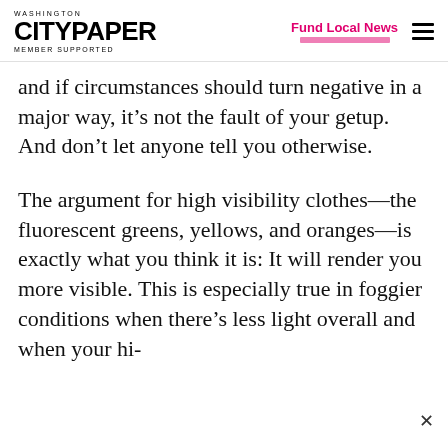WASHINGTON CITYPAPER MEMBER SUPPORTED | Fund Local News
and if circumstances should turn negative in a major way, it’s not the fault of your getup. And don’t let anyone tell you otherwise.
The argument for high visibility clothes—the fluorescent greens, yellows, and oranges—is exactly what you think it is: It will render you more visible. This is especially true in foggier conditions when there’s less light overall and when your hi-